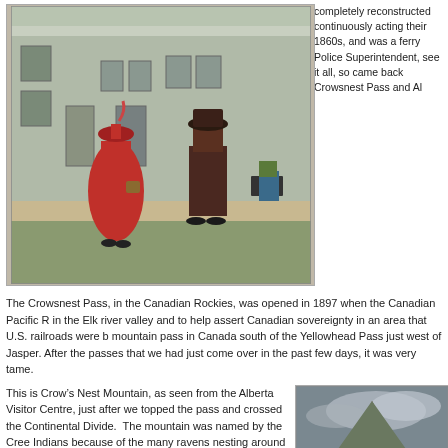[Figure (photo): Two people in period costume (woman in red Victorian dress with hat and man in brown suit with bowler hat) standing in front of a wooden building, historical reenactment scene]
completely reconstructed continuously acting their 1860s, and was a ferry Police Superintendent, see it all, so came back Crowsnest Pass and Al
The Crowsnest Pass, in the Canadian Rockies, was opened in 1897 when the Canadian Pacific R in the Elk river valley and to help assert Canadian sovereignty in an area that U.S. railroads were b mountain pass in Canada south of the Yellowhead Pass just west of Jasper. After the passes that we had just come over in the past few days, it was very tame.
This is Crow’s Nest Mountain, as seen from the Alberta Visitor Centre, just after we topped the pass and crossed the Continental Divide.  The mountain was named by the Cree Indians because of the many ravens nesting around it.
Our stop for the next few days was Blairmore, in the community of Crowsnest Pass – but more of that in the next journal.
Bernie & Ross
[Figure (photo): Crow's Nest Mountain viewed from Alberta Visitor Centre, showing mountain peak with forested slopes in foreground under cloudy sky]